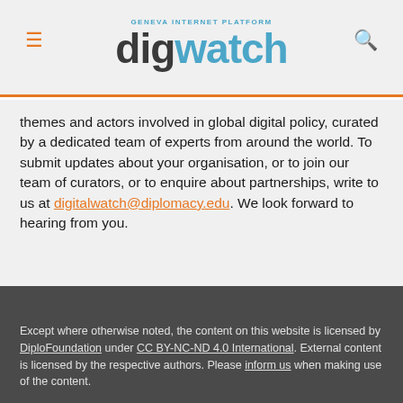digwatch — Geneva Internet Platform
themes and actors involved in global digital policy, curated by a dedicated team of experts from around the world. To submit updates about your organisation, or to join our team of curators, or to enquire about partnerships, write to us at digitalwatch@diplomacy.edu. We look forward to hearing from you.
Except where otherwise noted, the content on this website is licensed by DiploFoundation under CC BY-NC-ND 4.0 International. External content is licensed by the respective authors. Please inform us when making use of the content.